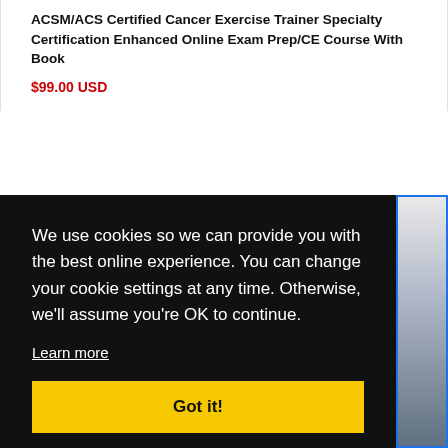ACSM/ACS Certified Cancer Exercise Trainer Specialty Certification Enhanced Online Exam Prep/CE Course With Book
$99.00 USD
We use cookies so we can provide you with the best online experience. You can change your cookie settings at any time. Otherwise, we'll assume you're OK to continue.
Learn more
Got it!
Onlin Facebook our Book